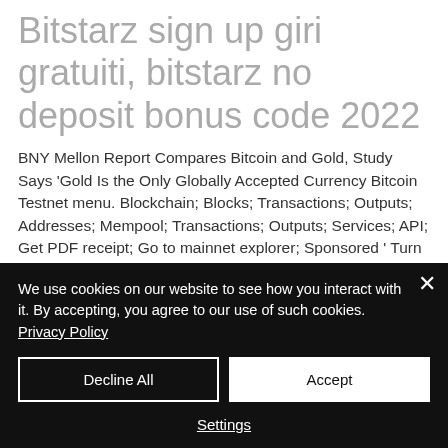Bitstarz sign up giri gratuiti, bitstarz no deposit bonus code 2022
BNY Mellon Report Compares Bitcoin and Gold, Study Says 'Gold Is the Only Globally Accepted Currency Bitcoin Testnet menu. Blockchain; Blocks; Transactions; Outputs; Addresses; Mempool; Transactions; Outputs; Services; API; Get PDF receipt; Go to mainnet explorer; Sponsored ' Turn off ads, bitstarz johnnybet. Join The Biggest ICO of
We use cookies on our website to see how you interact with it. By accepting, you agree to our use of such cookies. Privacy Policy
Decline All
Accept
Settings